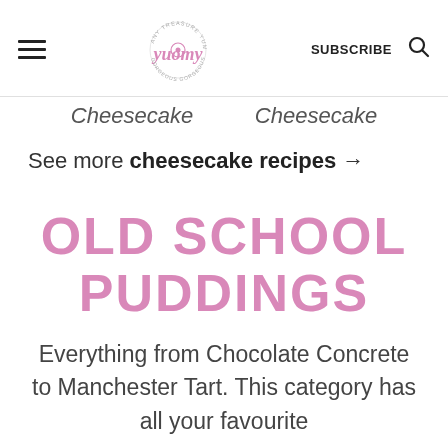yuomy [logo] SUBSCRIBE [search icon]
Cheesecake   Cheesecake
See more cheesecake recipes →
OLD SCHOOL PUDDINGS
Everything from Chocolate Concrete to Manchester Tart. This category has all your favourite